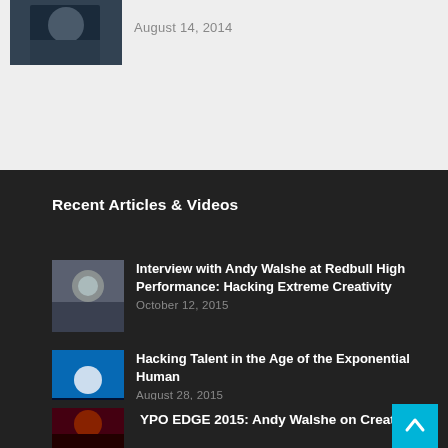[Figure (photo): Partial photo thumbnail in top section, dark blue/grey tones]
August 14, 2014
Recent Articles & Videos
[Figure (photo): Thumbnail photo of smiling man in dark jacket, outdoors]
Interview with Andy Walshe at Redbull High Performance: Hacking Extreme Creativity
October 12, 2015
[Figure (photo): Thumbnail photo of man speaking on stage, blue background]
Hacking Talent in the Age of the Exponential Human
August 28, 2015
[Figure (photo): Partial thumbnail of man on dark red background]
YPO EDGE 2015: Andy Walshe on Creati…